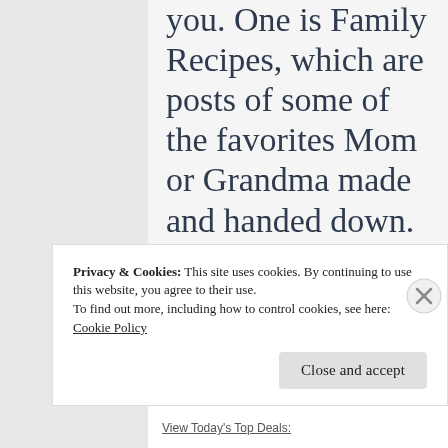you. One is Family Recipes, which are posts of some of the favorites Mom or Grandma made and handed down. The other is Heritage Recipes, which are recipes
Privacy & Cookies: This site uses cookies. By continuing to use this website, you agree to their use.
To find out more, including how to control cookies, see here:
Cookie Policy